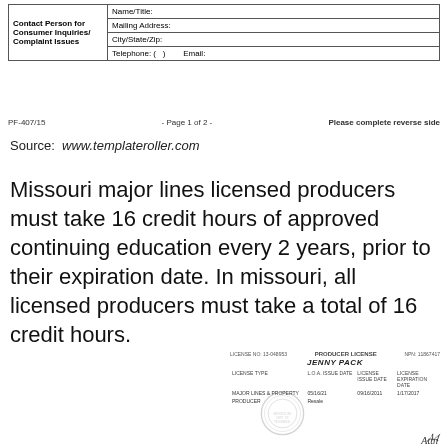| Contact Person for Consumer Inquiries/ Complaint Issues |  |
| --- | --- |
|  | Name/Title: |
|  | Mailing Address: |
|  | City/State/Zip: |
|  | Telephone: (   )          Email: |
PF-407/15   - Page 1 of 2 -   Please complete reverse side
Source: www.templateroller.com
Missouri major lines licensed producers must take 16 credit hours of approved continuing education every 2 years, prior to their expiration date. In missouri, all licensed producers must take a total of 16 credit hours.
[Figure (other): Insurance producer license certificate with name JENNY PACK, license type MAJOR LINES & PROPERTY, with seal and signature]